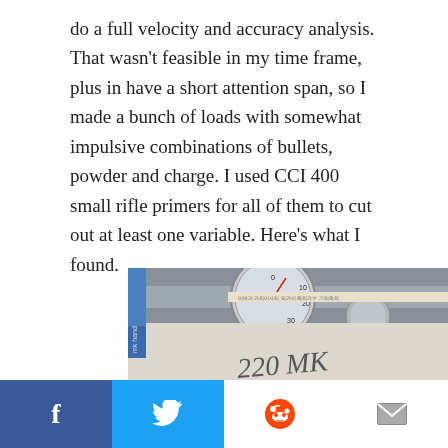do a full velocity and accuracy analysis. That wasn't feasible in my time frame, plus in have a short attention span, so I made a bunch of loads with somewhat impulsive combinations of bullets, powder and charge. I used CCI 400 small rifle primers for all of them to cut out at least one variable. Here's what I found.
[Figure (photo): Photo of a dial caliper measuring tool placed over a sheet of paper with handwritten text '220 MK 6ou' and target circles with bullet holes, alongside two copper-pointed rifle bullets.]